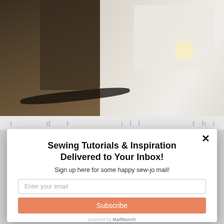[Figure (photo): Photo of a sewing machine area with dark background on left and white sewing machine on right, with cables visible]
t d t      ill      thi t Thi i          hi f
Sewing Tutorials & Inspiration Delivered to Your Inbox!
Sign up here for some happy sew-jo mail!
Enter your email
Subscribe
powered by MailMunch